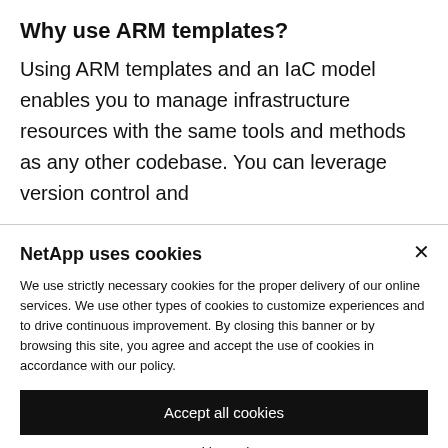Why use ARM templates?
Using ARM templates and an IaC model enables you to manage infrastructure resources with the same tools and methods as any other codebase. You can leverage version control and
NetApp uses cookies
We use strictly necessary cookies for the proper delivery of our online services. We use other types of cookies to customize experiences and to drive continuous improvement. By closing this banner or by browsing this site, you agree and accept the use of cookies in accordance with our policy.
Accept all cookies
Cookie settings